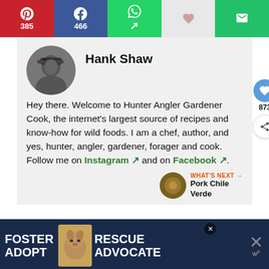[Figure (infographic): Social share bar with Pinterest (385), Facebook (466), WhatsApp, Save, and Email buttons]
[Figure (photo): Circular black and white profile photo of Hank Shaw wearing a cap]
Hank Shaw
Hey there. Welcome to Hunter Angler Gardener Cook, the internet's largest source of recipes and know-how for wild foods. I am a chef, author, and yes, hunter, angler, gardener, forager and cook. Follow me on Instagram and on Facebook.
WHAT'S NEXT → Pork Chile Verde
[Figure (infographic): Advertisement banner: FOSTER ADOPT / RESCUE ADVOCATE with dog photo]